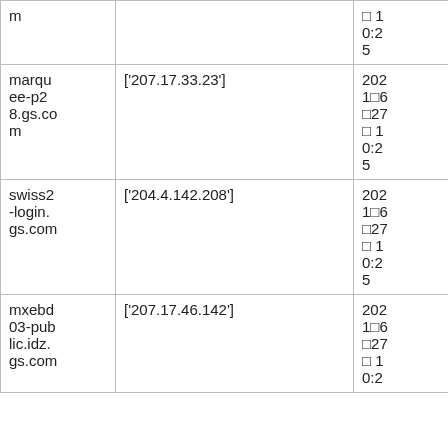| m |  | □ 10:25 |
| marquee-p28.gs.com | ['207.17.33.23'] | 2021□6□27□ 10:25 |
| swiss2-login.gs.com | ['204.4.142.208'] | 2021□6□27□ 10:25 |
| mxebd03-public.idz.gs.com | ['207.17.46.142'] | 2021□6□27□ 10:2 |